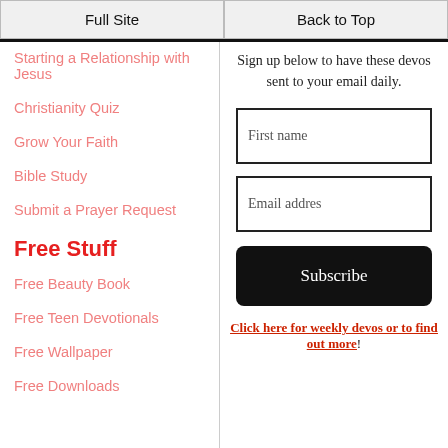Full Site | Back to Top
Starting a Relationship with Jesus
Christianity Quiz
Grow Your Faith
Bible Study
Submit a Prayer Request
Free Stuff
Free Beauty Book
Free Teen Devotionals
Free Wallpaper
Free Downloads
Sign up below to have these devos sent to your email daily.
First name
Email addres
Subscribe
Click here for weekly devos or to find out more!